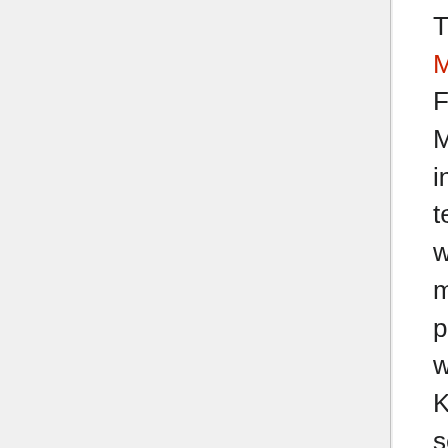The Teletype Corporation had its roots in the Morkrum Company. In 1902, electrical engineer Mr. Frank Pearne approached Mr. Joy Morton, head of Morton Salt, seeking a sponsor for Pearne's research into the practicalities of developing a printing telegraph system. Joy Morton needed to determine whether this was worthwhile and so consulted mechanical engineer Charles Krum, who was vice president of the Western Cold Storage Company, which was run by Morton's brother Mark Morton. Krum was interested in helping Pearne, so space was set up in a laboratory in the attic of Western Cold Storage. Frank Pearne lost interest in the project after a year and left to get involved in teaching. Krum was prepared to continue Pearne's work, and in